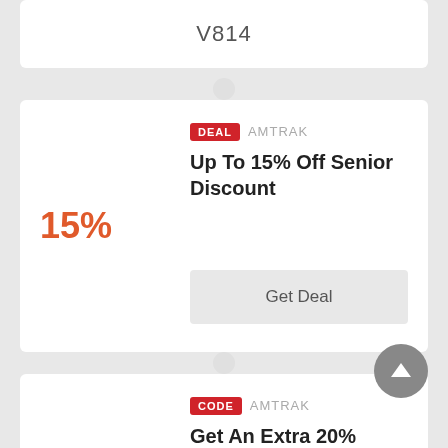V814
DEAL  AMTRAK
Up To 15% Off Senior Discount
15%
Get Deal
CODE  AMTRAK
Get An Extra 20% Today
20%
thankyou20